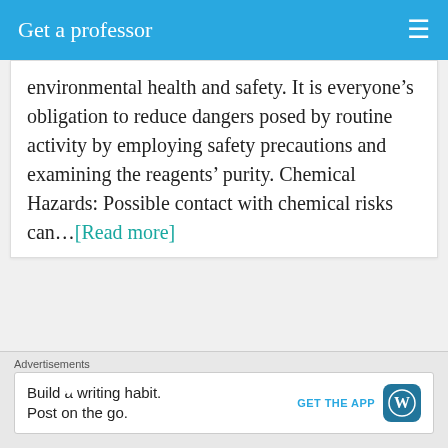Get a professor
environmental health and safety. It is everyone’s obligation to reduce dangers posed by routine activity by employing safety precautions and examining the reagents’ purity. Chemical Hazards: Possible contact with chemical risks can…[Read more]
10 hours, 33 minutes ago
Advertisements
Build a writing habit. Post on the go. GET THE APP